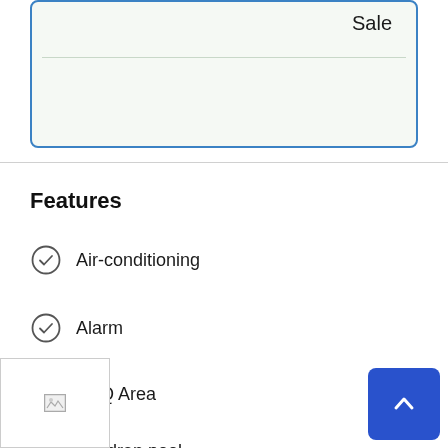Sale
Features
Air-conditioning
Alarm
BBQ Area
Children pool
[Figure (logo): Company logo in bottom left corner]
[Figure (other): Blue scroll-to-top button with upward chevron arrow in bottom right corner]